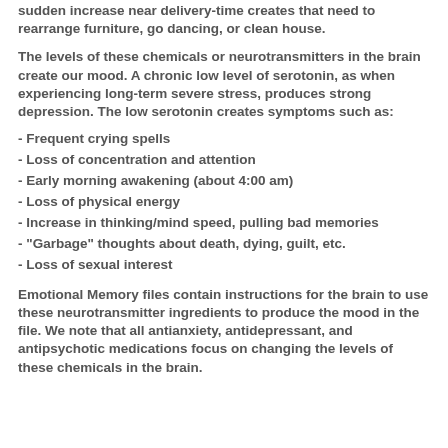sudden increase near delivery-time creates that need to rearrange furniture, go dancing, or clean house.
The levels of these chemicals or neurotransmitters in the brain create our mood. A chronic low level of serotonin, as when experiencing long-term severe stress, produces strong depression. The low serotonin creates symptoms such as:
- Frequent crying spells
- Loss of concentration and attention
- Early morning awakening (about 4:00 am)
- Loss of physical energy
- Increase in thinking/mind speed, pulling bad memories
- "Garbage" thoughts about death, dying, guilt, etc.
- Loss of sexual interest
Emotional Memory files contain instructions for the brain to use these neurotransmitter ingredients to produce the mood in the file. We note that all antianxiety, antidepressant, and antipsychotic medications focus on changing the levels of these chemicals in the brain.